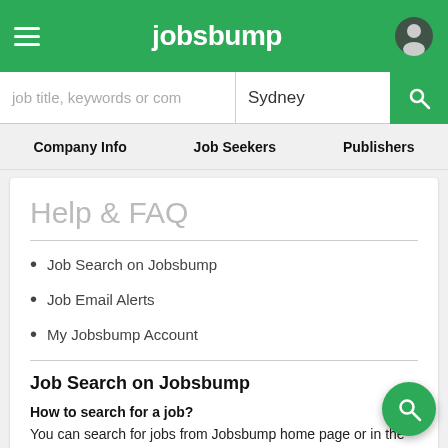jobsbump
job title, keywords or com | Sydney
Company Info   Job Seekers   Publishers
Help & FAQ
Job Search on Jobsbump
Job Email Alerts
My Jobsbump Account
Job Search on Jobsbump
How to search for a job?
You can search for jobs from Jobsbump home page or in the search box at the top of any page.